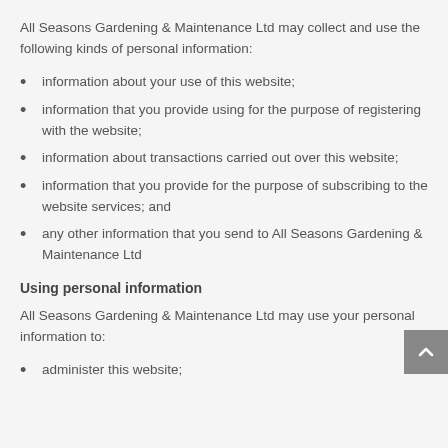All Seasons Gardening & Maintenance Ltd may collect and use the following kinds of personal information:
information about your use of this website;
information that you provide using for the purpose of registering with the website;
information about transactions carried out over this website;
information that you provide for the purpose of subscribing to the website services; and
any other information that you send to All Seasons Gardening & Maintenance Ltd
Using personal information
All Seasons Gardening & Maintenance Ltd may use your personal information to:
administer this website;